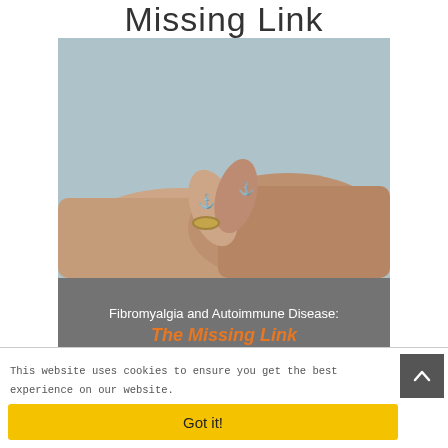Missing Link
[Figure (photo): Two hands with pinky fingers interlinked, each with a small anchor tattoo on the finger. One hand wears a gold ring. Gray-blue background.]
Fibromyalgia and Autoimmune Disease: The Missing Link
[Figure (logo): Fibromyalgia Pain Cure logo with purple butterfly/flower icon]
This website uses cookies to ensure you get the best experience on our website.
Got it!